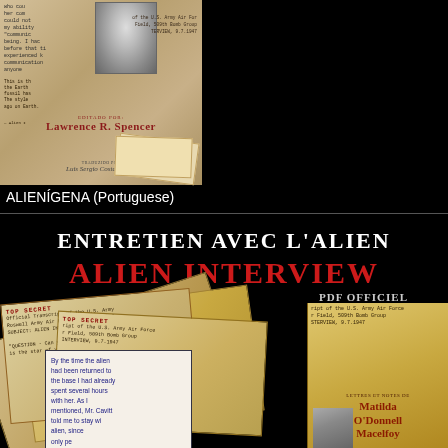[Figure (photo): Book cover for Alien Interview in Portuguese (ALIENÍGENA) - shows a vintage photo collage with handwritten documents, a female military portrait photo, edited by Lawrence R. Spencer, translated by Luis Sergio Costa Lemos. Dark sepia/aged paper aesthetic.]
ALIENÍGENA (Portuguese)
[Figure (photo): Book cover for Alien Interview in French (Entretien Avec L'Alien) - black background with white and red title text, vintage classified document imagery, quote text in blue, and author attribution: Matilda O'Donnell Macelroy. Labeled PDF OFFICIEL.]